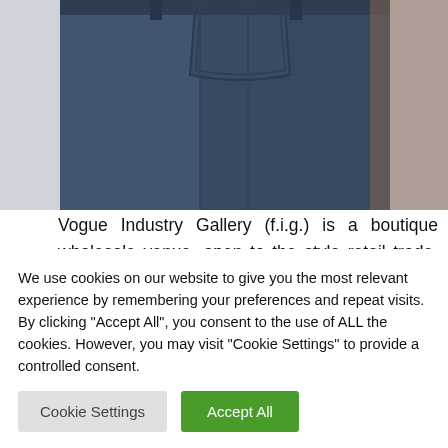[Figure (photo): Close-up photo of a person wearing dark blue denim jeans, showing the back pocket area and waistband.]
Vogue Industry Gallery (f.i.g.) is a boutique wholesale venue, open to the style retail trade, that showcases the very best in elevated women's up to date trend and equipment. Fashion Nova's girls' night time out dresses deliver on the horny and will be sure to're leaving the home feeling like a ten. Whether you are out to bounce
We use cookies on our website to give you the most relevant experience by remembering your preferences and repeat visits. By clicking “Accept All”, you consent to the use of ALL the cookies. However, you may visit "Cookie Settings" to provide a controlled consent.